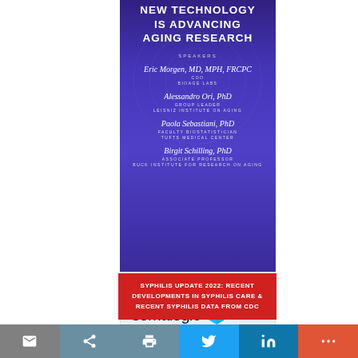NEW TECHNOLOGY IS ADVANCING AGING RESEARCH
SPEAKERS
Eric Morgen, MD, MPH, FRCPC
COO
BIOAGE LABS
Alessandro Ori, PhD
GROUP LEADER
LEISNIZ INSTITUTE ON AGING
Paola Sebastiani, PhD
FACULTY BIOSTATISTICIAN
TUFTS MEDICAL CENTER
Birgit Schilling, PhD
ASSOCIATE PROFESSOR
BUCK INSTITUTE FOR RESEARCH ON AGING
SPONSORED BY somalogic
SYPHILIS UPDATE 2022: RECENT DEVELOPMENTS IN SYPHILIS CARE & RECENT SYPHILIS DATA FROM CDC